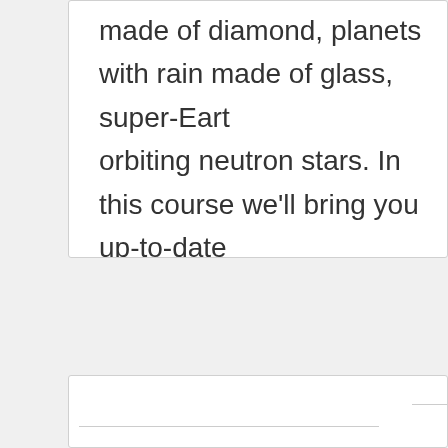made of diamond, planets with rain made of glass, super-Earths orbiting neutron stars. In this course we'll bring you up-to-date on exoplanets, and how it has revolutionised our understanding of solar systems like our own. This course is designed for people who want a deeper understanding of these mysteries than that offered by popular books and shows. You will need reasonable high-school level Maths and Physics to get most out of this course. This is the second of four ANUx courses that make up The Australian National University's first year astrophysics program. It follows from the introductory course on the Greatest Unsolved Mysteries, but it is not necessary to have done the introductory course first: all necessary background material is repeated here. It will be followed by courses on the and cosmology.
Related Courses